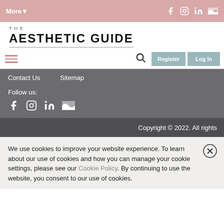More▼
THE AESTHETIC GUIDE
Contact Us   Sitemap
Follow us:
Copyright © 2022. All rights
We use cookies to improve your website experience. To learn about our use of cookies and how you can manage your cookie settings, please see our Cookie Policy. By continuing to use the website, you consent to our use of cookies.